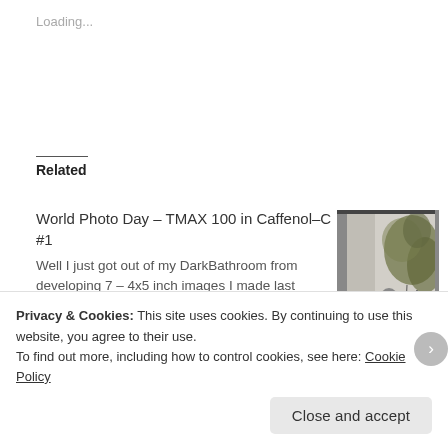Loading...
Related
World Photo Day – TMAX 100 in Caffenol-C #1
Well I just got out of my DarkBathroom from developing 7 – 4x5 inch images I made last Wednesday on World Photo Day around
August 28, 2015
In "Alternative Process"
[Figure (photo): Black and white photograph showing a person near plants/foliage indoors]
Caffenol C–L
October 29, 2012
In "Alternative Process"
Privacy & Cookies: This site uses cookies. By continuing to use this website, you agree to their use.
To find out more, including how to control cookies, see here: Cookie Policy
Close and accept